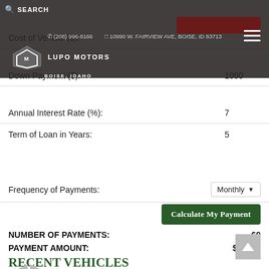SEARCH | (208) 996-8166 | 10990 W. FAIRVIEW AVE, BOISE, ID 83713 | LUPO MOTORS BOISE, IDAHO
Cost of Vehicle ($):
Down Payment ($): 1000
Annual Interest Rate (%): 7
Term of Loan in Years: 5
Frequency of Payments: Monthly
Calculate My Payment
NUMBER OF PAYMENTS: 60
PAYMENT AMOUNT: $ 89.11
RECENT VEHICLES
Browse through our selection of vehicles that have recently been added to our inventory.